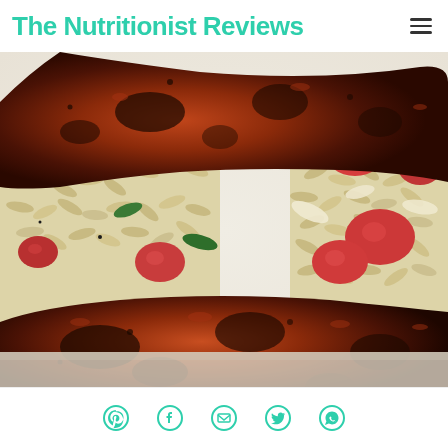The Nutritionist Reviews
[Figure (photo): Close-up photo of blackened/spiced chicken pieces served over orzo pasta salad with cherry tomatoes, basil, and shaved parmesan cheese in a white dish]
Social share icons: Pinterest, Facebook, Email, Twitter, WhatsApp